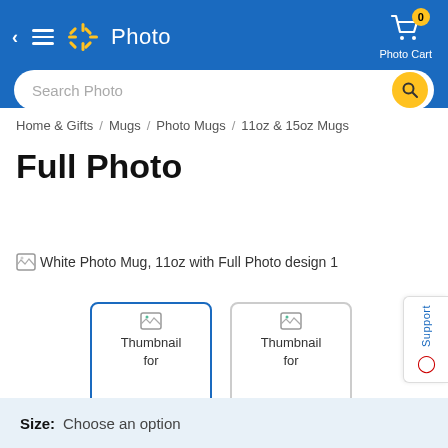Walmart Photo — Search Photo — Photo Cart (0 items)
Home & Gifts / Mugs / Photo Mugs / 11oz & 15oz Mugs
Full Photo
[Figure (photo): White Photo Mug, 11oz with Full Photo design 1 — broken image placeholder with alt text]
[Figure (photo): Thumbnail for White (first) — broken image with label 'Thumbnail for White', selected with blue border]
[Figure (photo): Thumbnail for White (second) — broken image with label 'Thumbnail for White', unselected with grey border]
White
White
Size: Choose an option